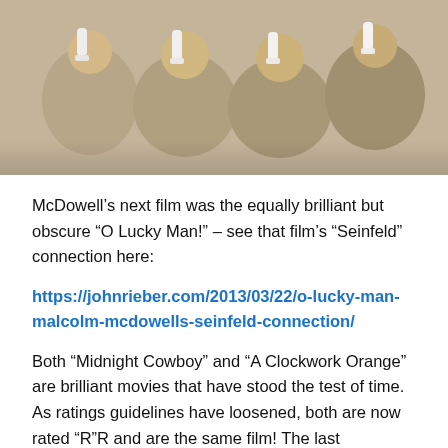[Figure (photo): A group of people sitting together, each holding a white bottle of milk. They appear to be dressed in light-colored outfits, reminiscent of a scene from A Clockwork Orange.]
McDowell’s next film was the equally brilliant but obscure “O Lucky Man!” – see that film’s “Seinfeld” connection here:
https://johnrieber.com/2013/03/22/o-lucky-man-malcolm-mcdowells-seinfeld-connection/
Both “Midnight Cowboy” and “A Clockwork Orange” are brilliant movies that have stood the test of time. As ratings guidelines have loosened, both are now rated “R”R and are the same film! The last nomination for an X-rated movie came, not for Best Picture, but for the directing and acting in the equally provocative “Last Tango In Paris”.